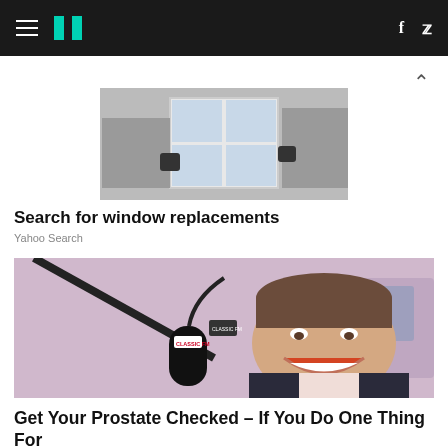HuffPost navigation header with hamburger menu, logo, Facebook and Twitter icons
[Figure (photo): Advertisement image showing a window installer fitting a replacement window from outside, person wearing gloves and grey work clothing]
Search for window replacements
Yahoo Search
[Figure (photo): Man smiling broadly in front of a Classic FM microphone on a boom stand in a radio studio, wearing a dark suit]
Get Your Prostate Checked – If You Do One Thing For